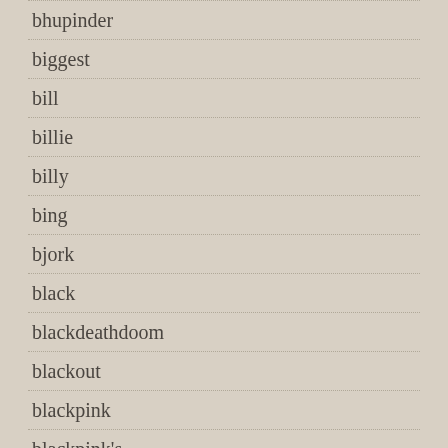bhupinder
biggest
bill
billie
billy
bing
bjork
black
blackdeathdoom
blackout
blackpink
blackpink's
blade
bled
blessed
blind